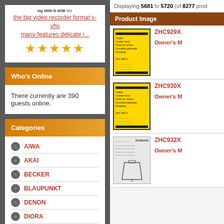the big video recorder format s-vhs many features delicate i ..
[Figure (illustration): Five gold stars rating]
Who's Online
There currently are 390 guests online.
Categories
AIWA
AKAI
BECKER
BLAUPUNKT
DENON
DIORA
DUAL
DYNACORD
Displaying 5681 to 5720 (of 8277 prod
Product Image
[Figure (photo): Yellow product manual cover for ZHC929X cooker hood]
ZHC929X Owner's M
[Figure (photo): Yellow product manual cover for ZHC930X cooker hood]
ZHC930X Owner's M
[Figure (photo): White product manual cover for ZHC932X cooker hood with diagram]
ZHC932X Owner's M